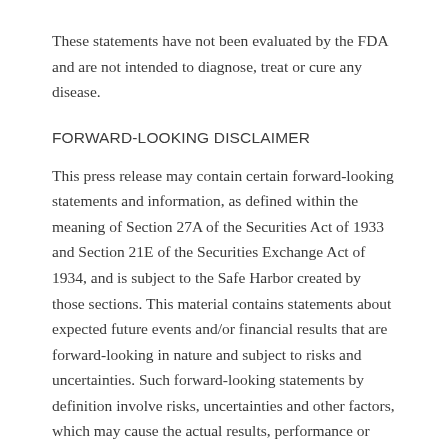These statements have not been evaluated by the FDA and are not intended to diagnose, treat or cure any disease.
FORWARD-LOOKING DISCLAIMER
This press release may contain certain forward-looking statements and information, as defined within the meaning of Section 27A of the Securities Act of 1933 and Section 21E of the Securities Exchange Act of 1934, and is subject to the Safe Harbor created by those sections. This material contains statements about expected future events and/or financial results that are forward-looking in nature and subject to risks and uncertainties. Such forward-looking statements by definition involve risks, uncertainties and other factors, which may cause the actual results, performance or achievements of Medical Marijuana, Inc. and